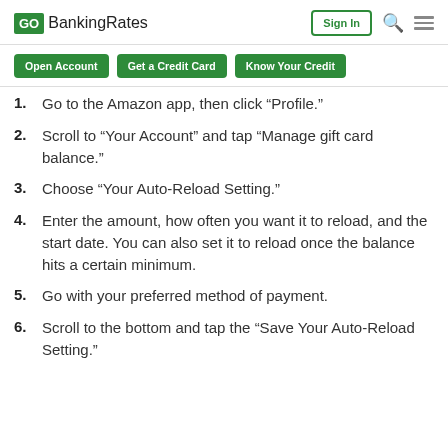GOBankingRates | Sign In
Open Account | Get a Credit Card | Know Your Credit
Go to the Amazon app, then click “Profile.”
Scroll to “Your Account” and tap “Manage gift card balance.”
Choose “Your Auto-Reload Setting.”
Enter the amount, how often you want it to reload, and the start date. You can also set it to reload once the balance hits a certain minimum.
Go with your preferred method of payment.
Scroll to the bottom and tap the “Save Your Auto-Reload Setting.”